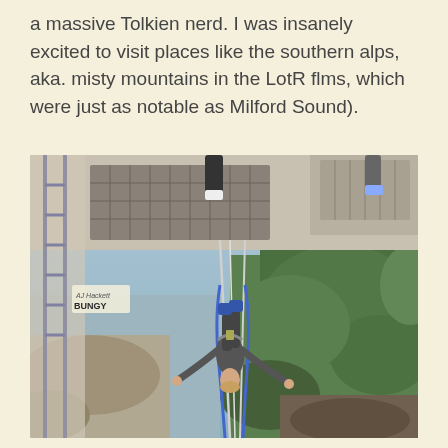a massive Tolkien nerd. I was insanely excited to visit places like the southern alps, aka. misty mountains in the LotR flms, which were just as notable as Milford Sound).
[Figure (photo): A person bungee jumping from a platform, viewed from above showing them mid-fall with arms outstretched over a river gorge and rocky terrain below. AJ Hackett Bungy branding visible on the platform structure.]